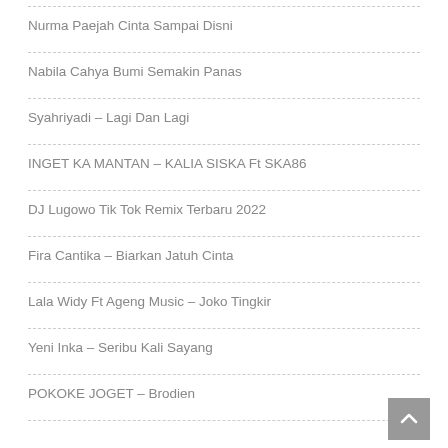Nurma Paejah Cinta Sampai Disni
Nabila Cahya Bumi Semakin Panas
Syahriyadi – Lagi Dan Lagi
INGET KA MANTAN – KALIA SISKA Ft SKA86
DJ Lugowo Tik Tok Remix Terbaru 2022
Fira Cantika – Biarkan Jatuh Cinta
Lala Widy Ft Ageng Music – Joko Tingkir
Yeni Inka – Seribu Kali Sayang
POKOKE JOGET – Brodien